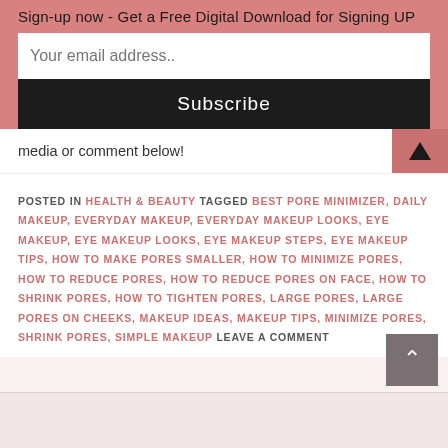Sign-up now - Get a Free Digital Download for Signing UP
Your email address..
Subscribe
media or comment below!
POSTED IN HEALTH & BEAUTY TAGGED BEST PORE MINIMIZER, DAILY MAKEUP, EVERYDAY MAKEUP, EVERYDAY MAKEUP LOOKS, EYE MAKEUP, EYE MAKEUP LOOKS, EYE MAKEUP STEPS, EYE MAKEUP TIPS, HOW TO MAKE PORES SMALLER, HOW TO MINIMIZE PORES, HOW TO REDUCE PORES, HOW TO REDUCE PORES ON FACE, HOW TO SHRINK PORES, HOW TO TIGHTEN PORES, LARGE PORES, LARGE PORES ON CHEEKS, MAKEUP IDEAS, MAKEUP TIPS, MINIMIZE PORES, SHRINK PORES, SIMPLE MAKEUP LEAVE A COMMENT